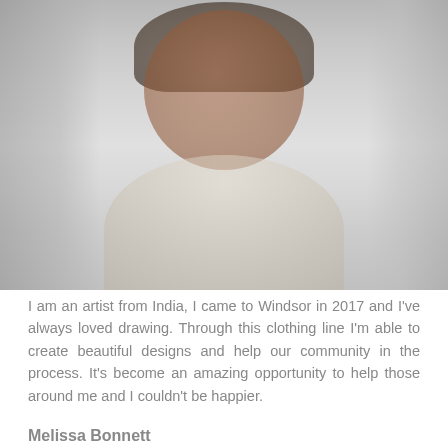[Figure (photo): Faded/washed-out portrait photo of a young man with dark hair, smiling, wearing a white shirt, with a dark background behind him.]
I am an artist from India, I came to Windsor in 2017 and I've always loved drawing. Through this clothing line I'm able to create beautiful designs and help our community in the process. It's become an amazing opportunity to help those around me and I couldn't be happier.
Melissa Bonnett
Artist/Designer